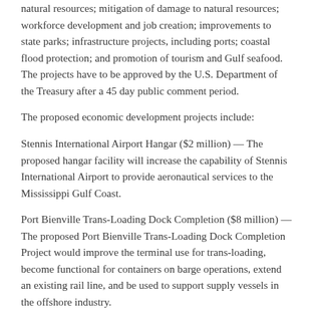natural resources; mitigation of damage to natural resources; workforce development and job creation; improvements to state parks; infrastructure projects, including ports; coastal flood protection; and promotion of tourism and Gulf seafood.  The projects have to be approved by the U.S. Department of the Treasury after a 45 day public comment period.
The proposed economic development projects include:
Stennis International Airport Hangar ($2 million) — The proposed hangar facility will increase the capability of Stennis International Airport to provide aeronautical services to the Mississippi Gulf Coast.
Port Bienville Trans-Loading Dock Completion ($8 million) — The proposed Port Bienville Trans-Loading Dock Completion Project would improve the terminal use for trans-loading, become functional for containers on barge operations, extend an existing rail line, and be used to support supply vessels in the offshore industry.